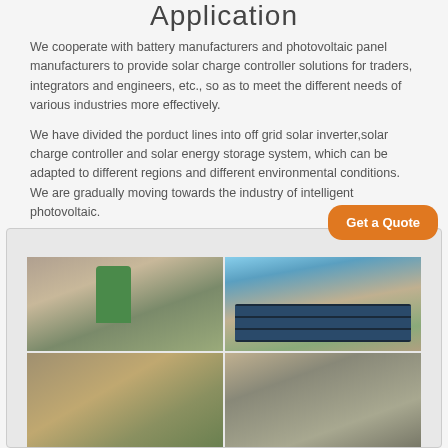Application
We cooperate with battery manufacturers and photovoltaic panel manufacturers to provide solar charge controller solutions for traders, integrators and engineers, etc., so as to meet the different needs of various industries more effectively.
We have divided the porduct lines into off grid solar inverter,solar charge controller and solar energy storage system, which can be adapted to different regions and different environmental conditions. We are gradually moving towards the industry of intelligent photovoltaic.
[Figure (photo): Two photos showing solar panel installation: left photo shows a person in green shirt on a ladder installing equipment on a vehicle/trailer roof; right photo shows a person working with solar panels on a rooftop with blue sky background. Below are two more installation photos partially visible.]